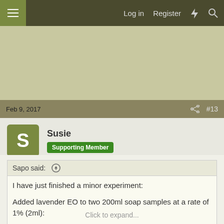Log in  Register
Feb 9, 2017   #13
Susie
Supporting Member
Sapo said: ↑

I have just finished a minor experiment:

Added lavender EO to two 200ml soap samples at a rate of 1% (2ml):
-One at 45° Celcius soap temp.
-One at room temp. soap.
Click to expand...